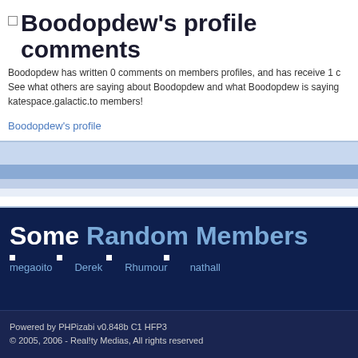Boodopdew's profile comments
Boodopdew has written 0 comments on members profiles, and has receive 1 c... See what others are saying about Boodopdew and what Boodopdew is saying... katespace.galactic.to members!
Boodopdew's profile
Some Random Members
megaoito  Derek  Rhumour  nathall
Powered by PHPizabi v0.848b C1 HFP3
© 2005, 2006 - Real!ty Medias, All rights reserved